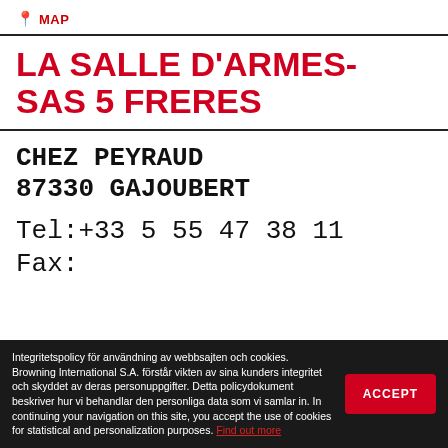MAP
LA SALLE D'ARMES- SAS 5 FRERES
CHEZ PEYRAUD
87330 GAJOUBERT

Tel:+33 5 55 47 38 11
Fax:
Integritetspolicy för användning av webbsajten och cookies. Browning International S.A. förstår vikten av sina kunders integritet och skyddet av deras personuppgifter. Detta policydokument beskriver hur vi behandlar den personliga data som vi samlar in. In continuing your navigation on this site, you accept the use of cookies for statistical and personalization purposes. Find out more